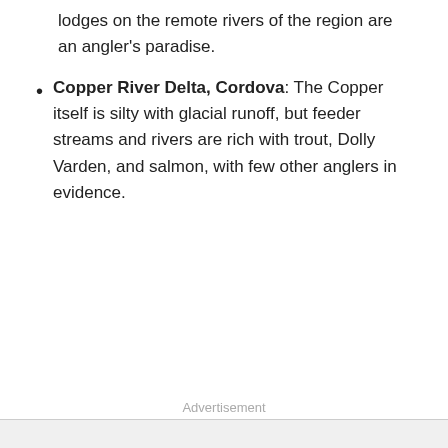lodges on the remote rivers of the region are an angler's paradise.
Copper River Delta, Cordova: The Copper itself is silty with glacial runoff, but feeder streams and rivers are rich with trout, Dolly Varden, and salmon, with few other anglers in evidence.
Advertisement